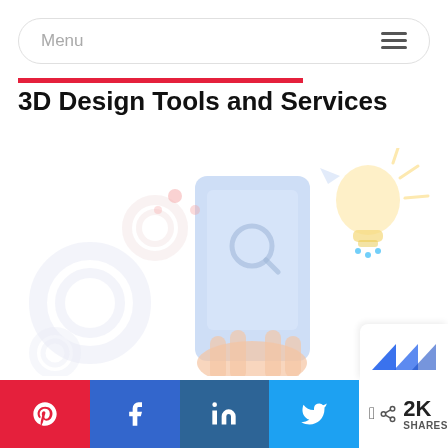Menu
3D Design Tools and Services
[Figure (illustration): Flat design illustration showing a hand holding a smartphone with design/settings icons, gears, a lightbulb, and search symbol in light pastel colors (blue, peach, yellow)]
[Figure (logo): Partial logo visible in bottom-right corner, blue bird/flag shape mark]
Pinterest share | Facebook share | LinkedIn share | Twitter share | 2K SHARES